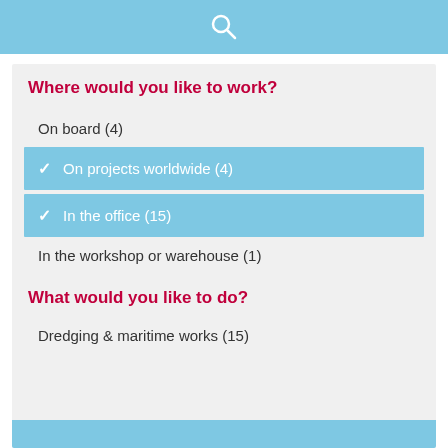[Figure (other): Blue header bar with white search/magnifying glass icon]
Where would you like to work?
On board (4)
✓ On projects worldwide (4)
✓ In the office (15)
In the workshop or warehouse (1)
What would you like to do?
Dredging & maritime works (15)